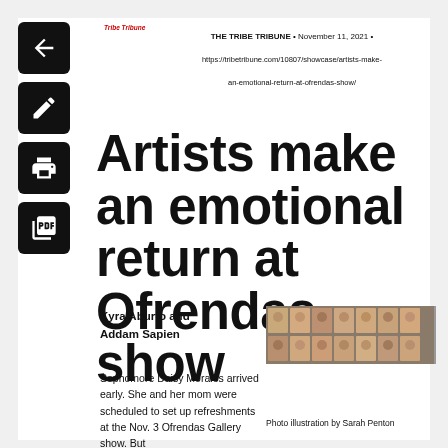THE TRIBE TRIBUNE • November 11, 2021 • https://tribetribune.com/10807/showcase/artists-make-an-emotional-return-at-ofrendas-show/
Artists make an emotional return at Ofrendas show
Kyra Aburto and Addam Sapien
[Figure (photo): Photo illustration showing a grid of student portrait photos]
Sophomore Daisy Morales arrived early. She and her mom were scheduled to set up refreshments at the Nov. 3 Ofrendas Gallery show. But
Photo illustration by Sarah Penton